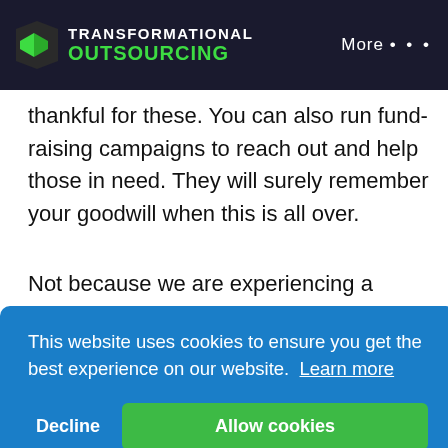TRANSFORMATIONAL OUTSOURCING | More ...
thankful for these. You can also run fund-raising campaigns to reach out and help those in need. They will surely remember your goodwill when this is all over.
Not because we are experiencing a global pandemic, you also need to give up on your marketing efforts. There is a lot more to do to keep
This website uses cookies to ensure you get the best experience on our website. Learn more
Decline
Allow cookies